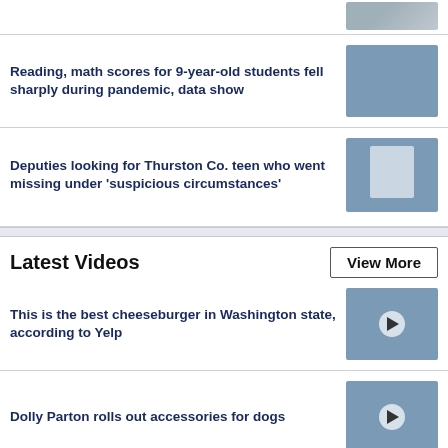[Figure (photo): Partial thumbnail image at top right, cropped]
Reading, math scores for 9-year-old students fell sharply during pandemic, data show
[Figure (photo): Classroom with desks and chairs]
Deputies looking for Thurston Co. teen who went missing under 'suspicious circumstances'
[Figure (photo): Young man portrait on blue background]
Latest Videos
View More
This is the best cheeseburger in Washington state, according to Yelp
[Figure (photo): Video thumbnail of cheeseburger with play button]
Dolly Parton rolls out accessories for dogs
[Figure (photo): Video thumbnail of Dolly Parton accessories with play button]